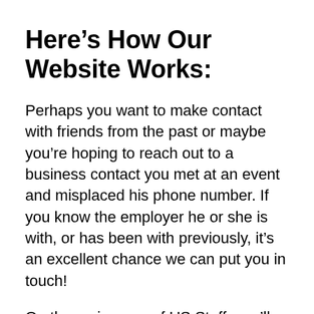Here’s How Our Website Works:
Perhaps you want to make contact with friends from the past or maybe you’re hoping to reach out to a business contact you met at an event and misplaced his phone number. If you know the employer he or she is with, or has been with previously, it’s an excellent chance we can put you in touch!
On the main page of US Staff, you’ll find navigation easy and straightforward. Once the Employer is selected, the details of all